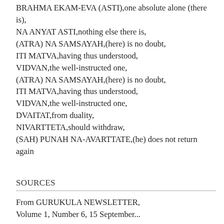BRAHMA EKAM-EVA (ASTI),one absolute alone (there is), NA ANYAT ASTI,nothing else there is, (ATRA) NA SAMSAYAH,(here) is no doubt, ITI MATVA,having thus understood, VIDVAN,the well-instructed one, (ATRA) NA SAMSAYAH,(here) is no doubt, ITI MATVA,having thus understood, VIDVAN,the well-instructed one, DVAITAT,from duality, NIVARTTETA,should withdraw, (SAH) PUNAH NA-AVARTTATE,(he) does not return again
SOURCES
From GURUKULA NEWSLETTER, Volume 1, Number 6, 15 September...